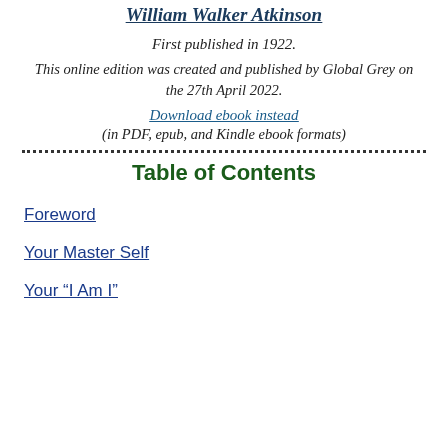William Walker Atkinson
First published in 1922.
This online edition was created and published by Global Grey on the 27th April 2022.
Download ebook instead
(in PDF, epub, and Kindle ebook formats)
Table of Contents
Foreword
Your Master Self
Your “I Am I”